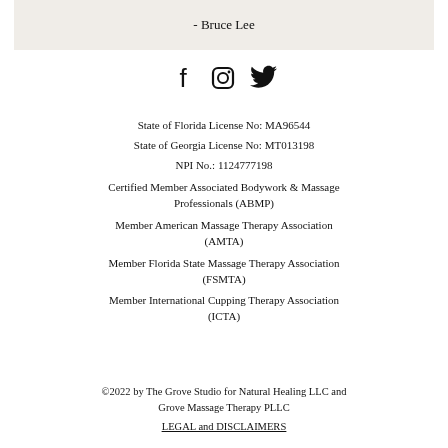- Bruce Lee
[Figure (other): Social media icons: Facebook, Instagram, Twitter]
State of Florida License No: MA96544
State of Georgia License No: MT013198
NPI No.: 1124777198
Certified Member Associated Bodywork & Massage Professionals (ABMP)
Member American Massage Therapy Association (AMTA)
Member Florida State Massage Therapy Association (FSMTA)
Member International Cupping Therapy Association (ICTA)
©2022 by The Grove Studio for Natural Healing LLC and Grove Massage Therapy PLLC
LEGAL and DISCLAIMERS